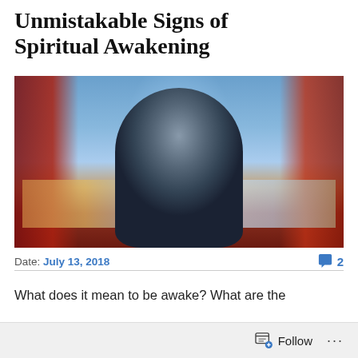Unmistakable Signs of Spiritual Awakening
[Figure (photo): Double exposure photo of a person wearing a dark winter hat and coat viewed from behind, overlaid with a cityscape and colorful abstract reflections in warm reds and cool blues]
Date: July 13, 2018
💬 2
What does it mean to be awake? What are the
Follow ...